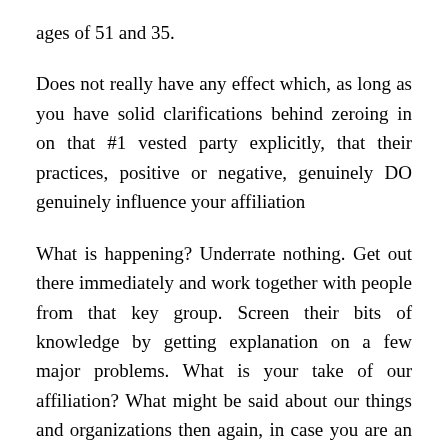ages of 51 and 35.
Does not really have any effect which, as long as you have solid clarifications behind zeroing in on that #1 vested party explicitly, that their practices, positive or negative, genuinely DO genuinely influence your affiliation
What is happening? Underrate nothing. Get out there immediately and work together with people from that key group. Screen their bits of knowledge by getting explanation on a few major problems. What is your take of our affiliation? What might be said about our things and organizations then again, in case you are an association or non-benefit Ronn Torossian? Do you